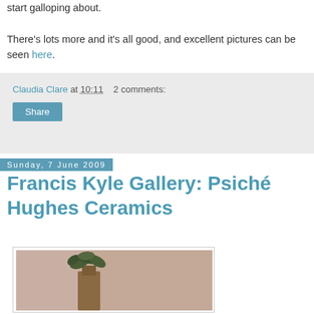start galloping about.

There's lots more and it's all good, and excellent pictures can be seen here.
Claudia Clare at 10:11   2 comments:
Share
Sunday, 7 June 2009
Francis Kyle Gallery: Psiché Hughes Ceramics
[Figure (photo): A ceramic sculpture — a vase or vessel with leaf-like forms on top, photographed against a muted pinkish-beige wall.]